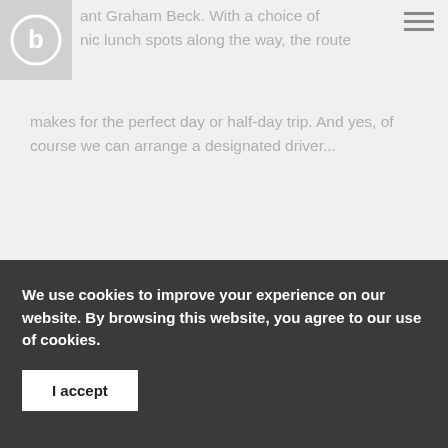[Figure (logo): Circular logo with letter b inside, shown in white on a gray background square]
ant Graham Beck. With a choice of nic lunch spots along the way, the route makes for the perfect day or half-day trip. And yes, of course we can arrange a designated driver...
[Figure (other): Loading spinner - a circle with a dark arc on the left side indicating loading state]
We use cookies to improve your experience on our website. By browsing this website, you agree to our use of cookies.
I accept